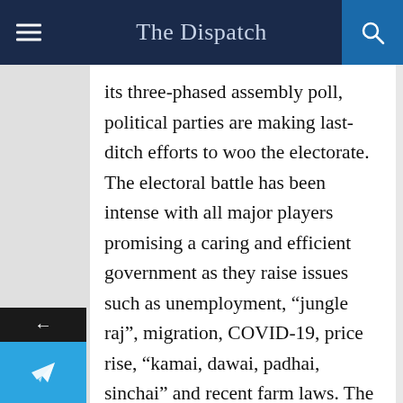The Dispatch
its three-phased assembly poll, political parties are making last-ditch efforts to woo the electorate. The electoral battle has been intense with all major players promising a caring and efficient government as they raise issues such as unemployment, “jungle raj”, migration, COVID-19, price rise, “kamai, dawai, padhai, sinchai” and recent farm laws. The two key contestants NDA and the RJD-led Mahagathbandhan appear to be working to concerted strategies with the ruling alliance talking in detail of the